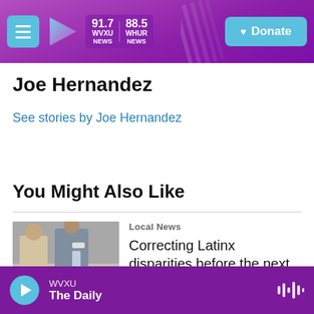WVXU 91.7 NEWS | WHUB 88.5 NEWS | Donate
Joe Hernandez
See stories by Joe Hernandez
You Might Also Like
Local News
Correcting Latinx disparities before the next health emergency
WVXU | The Daily